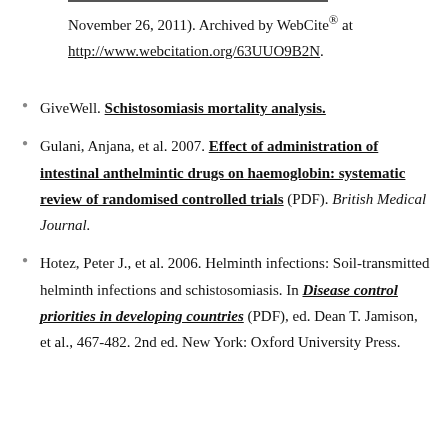November 26, 2011). Archived by WebCite® at http://www.webcitation.org/63UUO9B2N.
GiveWell. Schistosomiasis mortality analysis.
Gulani, Anjana, et al. 2007. Effect of administration of intestinal anthelmintic drugs on haemoglobin: systematic review of randomised controlled trials (PDF). British Medical Journal.
Hotez, Peter J., et al. 2006. Helminth infections: Soil-transmitted helminth infections and schistosomiasis. In Disease control priorities in developing countries (PDF), ed. Dean T. Jamison, et al., 467-482. 2nd ed. New York: Oxford University Press.